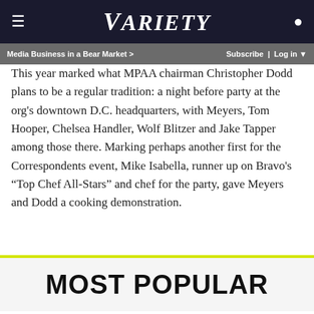VARIETY
Media Business in a Bear Market > Subscribe | Log in
This year marked what MPAA chairman Christopher Dodd plans to be a regular tradition: a night before party at the org's downtown D.C. headquarters, with Meyers, Tom Hooper, Chelsea Handler, Wolf Blitzer and Jake Tapper among those there. Marking perhaps another first for the Correspondents event, Mike Isabella, runner up on Bravo's “Top Chef All-Stars” and chef for the party, gave Meyers and Dodd a cooking demonstration.
ADVERTISEMENT
MOST POPULAR